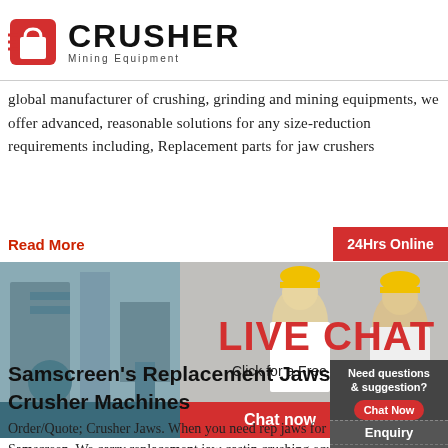[Figure (logo): Crusher Mining Equipment logo with red shopping bag icon and bold CRUSHER text]
global manufacturer of crushing, grinding and mining equipments, we offer advanced, reasonable solutions for any size-reduction requirements including, Replacement parts for jaw crushers
Read More
[Figure (photo): Live chat banner with workers in hard hats, LIVE CHAT overlay text, Click for a Free Consultation, Chat now and Chat later buttons, 24Hrs Online badge]
Samscreen's Replacement Jaws for Crusher Machines
Order/Quote; Crusher Jaws. When you need replacement jaws for crushing equipment with minimal downtime, count on Samscreen. We carry replacement jaw castings for many crushing equipment, or we can custom manufacture your replacement.
Need questions & suggestion?
Chat Now
Enquiry
limingjlmofen@sina.com